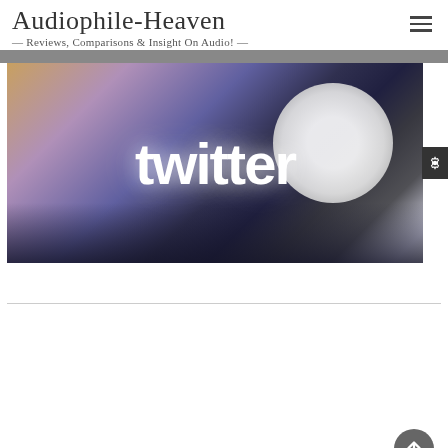Audiophile-Heaven — Reviews, Comparisons & Insight On Audio! —
[Figure (photo): Twitter banner image showing a dark background with headphones and the word 'twitter' in large white glowing text, with a bright white circular orb on the right side]